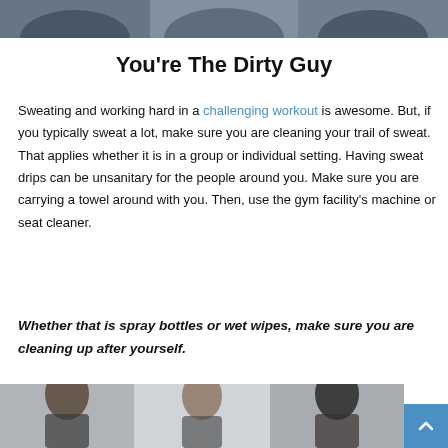[Figure (photo): Top portion of a photo showing people in a gym or fitness setting, cropped at top of page]
You’re The Dirty Guy
Sweating and working hard in a challenging workout is awesome. But, if you typically sweat a lot, make sure you are cleaning your trail of sweat. That applies whether it is in a group or individual setting. Having sweat drips can be unsanitary for the people around you. Make sure you are carrying a towel around with you. Then, use the gym facility’s machine or seat cleaner.
Whether that is spray bottles or wet wipes, make sure you are cleaning up after yourself.
[Figure (photo): Bottom portion of a photo showing people, likely in a gym or group fitness class setting]